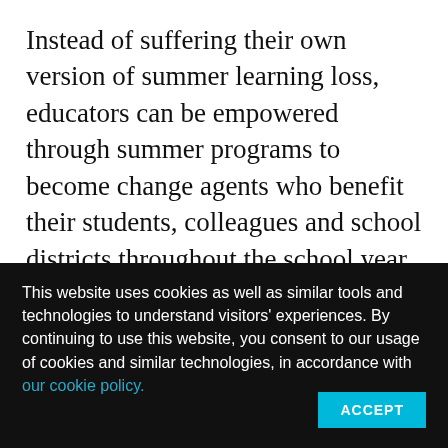Instead of suffering their own version of summer learning loss, educators can be empowered through summer programs to become change agents who benefit their students, colleagues and school districts throughout the school year and beyond.
This story about summer learning loss was produced by The Hechinger Report, a nonprofit, independent news organization focused
This website uses cookies as well as similar tools and technologies to understand visitors' experiences. By continuing to use this website, you consent to our usage of cookies and similar technologies, in accordance with our cookie policy.